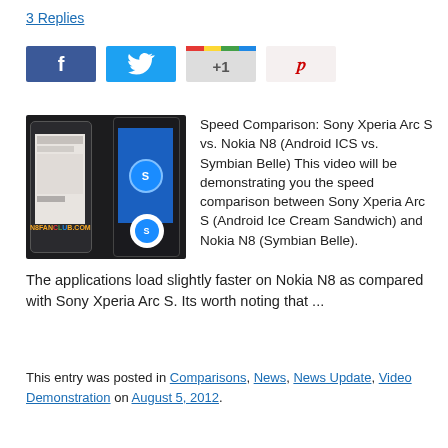3 Replies
[Figure (screenshot): Social share buttons: Facebook (blue), Twitter (blue bird), Google +1 (multicolor bar), Pinterest (pink with P icon)]
[Figure (photo): Two smartphones side by side - Sony Xperia Arc S on left and Nokia N8 on right, with N8FANCLUB.COM watermark]
Speed Comparison: Sony Xperia Arc S vs. Nokia N8 (Android ICS vs. Symbian Belle) This video will be demonstrating you the speed comparison between Sony Xperia Arc S (Android Ice Cream Sandwich) and Nokia N8 (Symbian Belle). The applications load slightly faster on Nokia N8 as compared with Sony Xperia Arc S. Its worth noting that ...
This entry was posted in Comparisons, News, News Update, Video Demonstration on August 5, 2012.